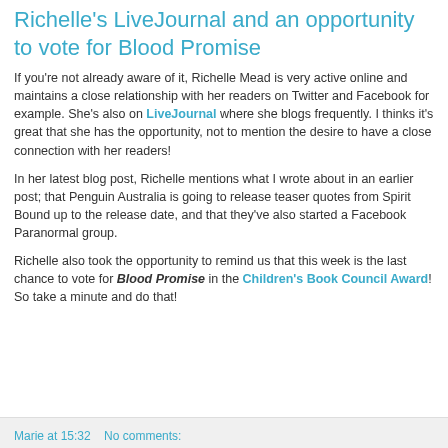Richelle's LiveJournal and an opportunity to vote for Blood Promise
If you're not already aware of it, Richelle Mead is very active online and maintains a close relationship with her readers on Twitter and Facebook for example. She's also on LiveJournal where she blogs frequently. I thinks it's great that she has the opportunity, not to mention the desire to have a close connection with her readers!
In her latest blog post, Richelle mentions what I wrote about in an earlier post; that Penguin Australia is going to release teaser quotes from Spirit Bound up to the release date, and that they've also started a Facebook Paranormal group.
Richelle also took the opportunity to remind us that this week is the last chance to vote for Blood Promise in the Children's Book Council Award! So take a minute and do that!
Marie at 15:32    No comments: